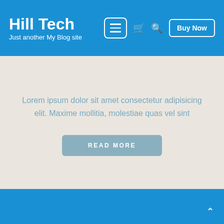Hill Tech — Just another My Blog site
Lorem ipsum dolor sit amet consectetur adipisicing elit. Maxime mollitia, molestiae quas vel sint
READ MORE